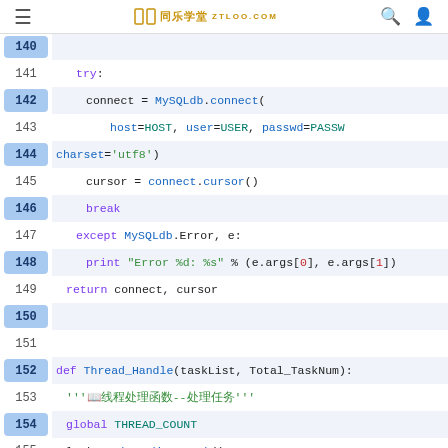同乐学堂 ZTLOO.COM
[Figure (screenshot): Python code editor showing lines 140-155 with syntax highlighting. Code includes try/except block with MySQLdb.connect(), cursor assignment, break, error printing, return statement, and Thread_Handle function definition with docstring and global/lock statements.]